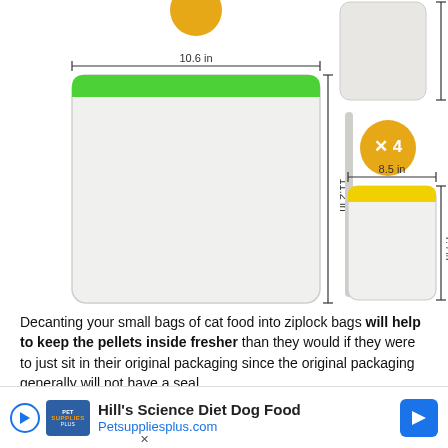[Figure (illustration): Product dimensions diagram showing two reusable ziplock bags. Left bag: green seal strip, 10.6 in wide, 11.2 in tall, labeled X6 (implied by context). Right bag: yellow seal strip, 8.5 in wide, 7.4 in tall, labeled X4 with an orange circle badge.]
Decanting your small bags of cat food into ziplock bags will help to keep the pellets inside fresher than they would if they were to just sit in their original packaging since the original packaging generally will not have a seal.
[Figure (screenshot): Advertisement banner: Hill's Science Diet Dog Food – Petsuppliesplus.com, with Pet Supplies Plus logo and blue arrow icon.]